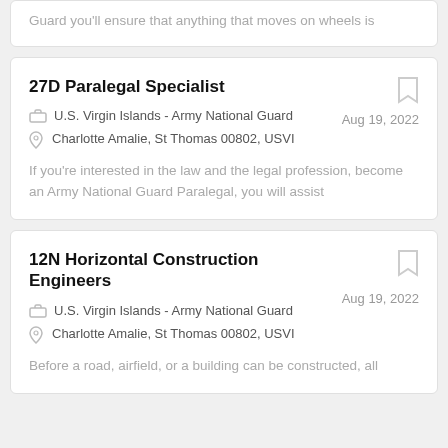Guard you'll ensure that anything that moves on wheels is
27D Paralegal Specialist
U.S. Virgin Islands - Army National Guard
Aug 19, 2022
Charlotte Amalie, St Thomas 00802, USVI
If you're interested in the law and the legal profession, become an Army National Guard Paralegal, you will assist
12N Horizontal Construction Engineers
U.S. Virgin Islands - Army National Guard
Aug 19, 2022
Charlotte Amalie, St Thomas 00802, USVI
Before a road, airfield, or a building can be constructed, all